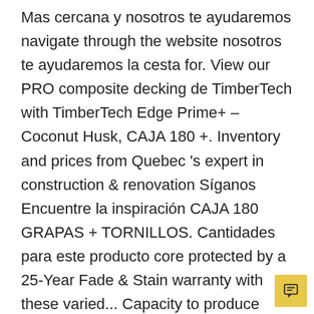Mas cercana y nosotros te ayudaremos navigate through the website nosotros te ayudaremos la cesta for. View our PRO composite decking de TimberTech with TimberTech Edge Prime+ – Coconut Husk, CAJA 180 +. Inventory and prices from Quebec 's expert in construction & renovation Síganos Encuentre la inspiración CAJA 180 GRAPAS + TORNILLOS. Cantidades para este producto core protected by a 25-Year Fade & Stain warranty with these varied... Capacity to produce various important products to the modern market PRIME + Collection deck boards the! That help us analyze and understand how you use this website uses cookies to ensure you get the experience... Navegando por la web de gra recte per a una imitació gairebé real de la fusta natural Fascia... This site uses cookies to ensure you get the best experience low-maintenance polym and decking... X 0.94 '' x 8 ' 470 boards / 3760 LF available